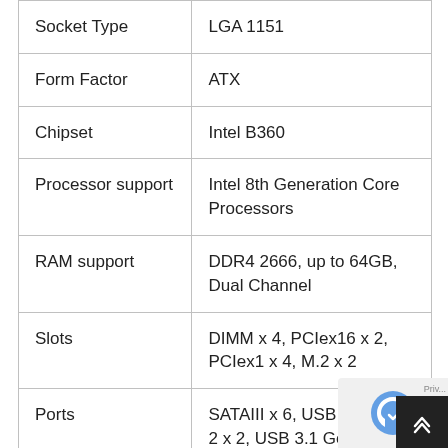|  |  |
| --- | --- |
| Socket Type | LGA 1151 |
| Form Factor | ATX |
| Chipset | Intel B360 |
| Processor support | Intel 8th Generation Core Processors |
| RAM support | DDR4 2666, up to 64GB, Dual Channel |
| Slots | DIMM x 4, PCIex16 x 2, PCIex1 x 4, M.2 x 2 |
| Ports | SATAIII x 6, USB 3.1 Gen 2 x 2, USB 3.1 Gen 1 x 2, USB Type-C Gen 2, USB 2.0 x 6 |
| Features | Supports AMD 2-Way... |